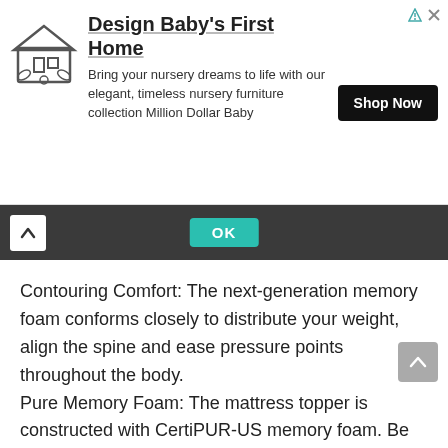[Figure (screenshot): Advertisement banner for Million Dollar Baby nursery furniture. Shows a house icon, the headline 'Design Baby's First Home', body text 'Bring your nursery dreams to life with our elegant, timeless nursery furniture collection Million Dollar Baby', and a black 'Shop Now' button.]
[Figure (screenshot): Dark navigation bar with a white chevron/up arrow on the left, a teal 'OK' button in the center, and partial view of the bar.]
Contouring Comfort: The next-generation memory foam conforms closely to distribute your weight, align the spine and ease pressure points throughout the body.
Pure Memory Foam: The mattress topper is constructed with CertiPUR-US memory foam. Be ready to enjoy a sounder sleep whether you are a side, back, or stomach sleeper.
✤Enhanced Breathability: Cooling properties of gel, along with ventilated holes - This foam bed topper offers increased breathability.